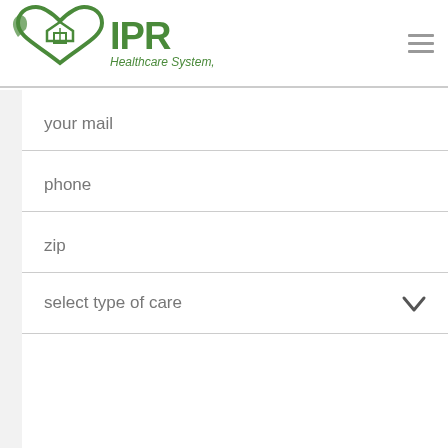IPR Healthcare System, Inc.
your mail
phone
zip
select type of care